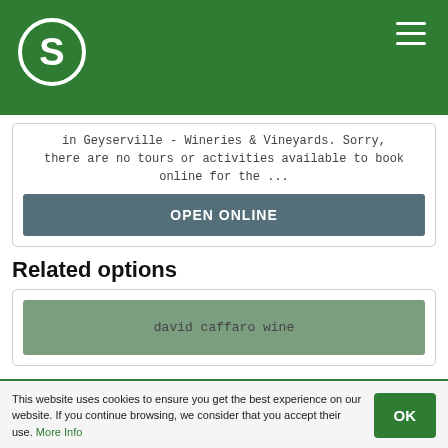[Figure (logo): Green header bar with white 'S' logo circle on left and hamburger menu icon on right]
in Geyserville - Wineries & Vineyards. Sorry, there are no tours or activities available to book online for the ...
OPEN ONLINE
Related options
david caffaro wine
This website uses cookies to ensure you get the best experience on our website. If you continue browsing, we consider that you accept their use. More Info